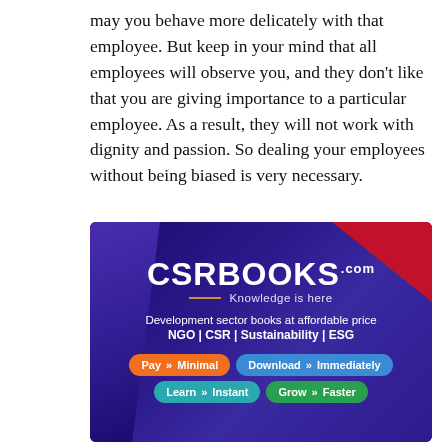may you behave more delicately with that employee. But keep in your mind that all employees will observe you, and they don't like that you are giving importance to a particular employee. As a result, they will not work with dignity and passion. So dealing your employees without being biased is very necessary.
[Figure (illustration): CSRBOOKS.com advertisement banner with dark purple background, red triangle in top-right corner. Shows brand name CSRBOOKS.com with tagline 'Knowledge is here', text 'Development sector books at affordable price', 'NGO | CSR | Sustainability | ESG', and four colored buttons: 'Pay >> Minimal', 'Download >> Immediately', 'Learn >> Instant', 'Grow >> Faster'.]